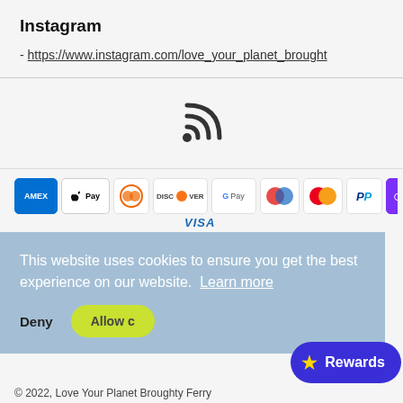Instagram
- https://www.instagram.com/love_your_planet_brought
[Figure (other): RSS feed icon (wifi/signal style icon in dark grey)]
[Figure (other): Payment method icons: AMEX, Apple Pay, Diners Club, Discover/Verify, Google Pay, Maestro, Mastercard, PayPal, OPay, VISA]
This website uses cookies to ensure you get the best experience on our website. Learn more
Deny
Allow c
© 2022, Love Your Planet Broughty Ferry
Rewards